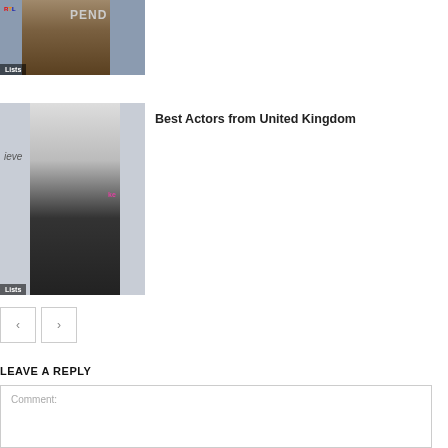[Figure (photo): Cropped photo of a man at a movie event with RTL logo badge and 'PEND' text visible, with 'Lists' label overlay at bottom]
[Figure (photo): Photo of an older silver-haired man in a dark suit with partial text 'ieve' and 'ke' visible in background, with 'Lists' label overlay at bottom]
Best Actors from United Kingdom
< >
LEAVE A REPLY
Comment: